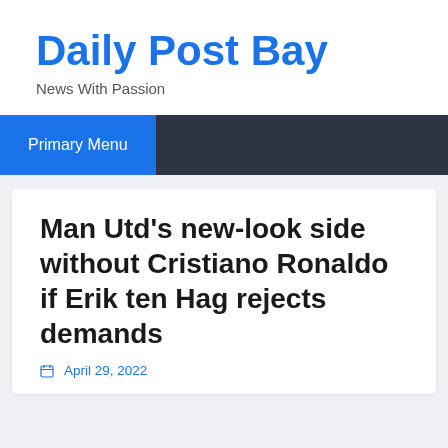Daily Post Bay
News With Passion
Primary Menu
Man Utd's new-look side without Cristiano Ronaldo if Erik ten Hag rejects demands
April 29, 2022